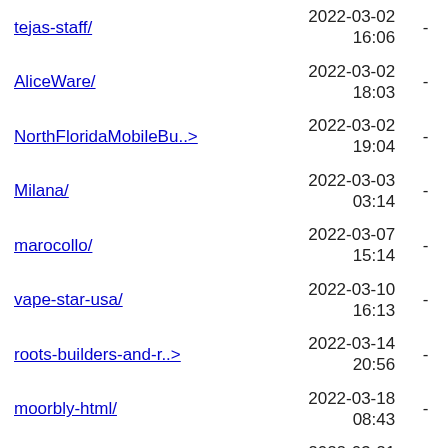| Name | Date |  |
| --- | --- | --- |
| tejas-staff/ | 2022-03-02
16:06 | - |
| AliceWare/ | 2022-03-02
18:03 | - |
| NorthFloridaMobileBu..> | 2022-03-02
19:04 | - |
| Milana/ | 2022-03-03
03:14 | - |
| marocollo/ | 2022-03-07
15:14 | - |
| vape-star-usa/ | 2022-03-10
16:13 | - |
| roots-builders-and-r..> | 2022-03-14
20:56 | - |
| moorbly-html/ | 2022-03-18
08:43 | - |
| acorn/ | 2022-03-21
20:50 | - |
| harrison-county/ | 2022-03-22
08:51 | - |
| all-you-need-services/ | 2022-03-22
19:30 | - |
| (truncated) | 2022-03-22 | - |